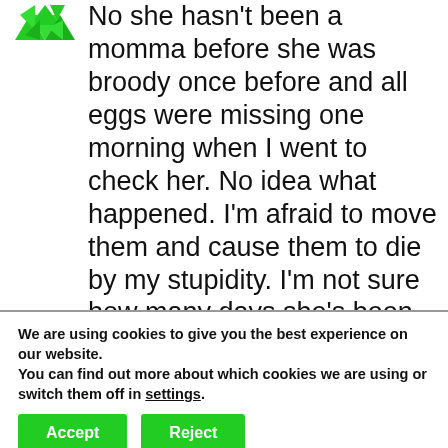[Figure (logo): Green triangular mosaic avatar icon]
No she hasn't been a momma before she was broody once before and all eggs were missing one morning when I went to check her. No idea what happened. I'm afraid to move them and cause them to die by my stupidity. I'm not sure how many days she's been on them because she stole from some other hens but I'm guessing 15 days? Should I set the humidity
We are using cookies to give you the best experience on our website.
You can find out more about which cookies we are using or switch them off in settings.
Accept
Reject